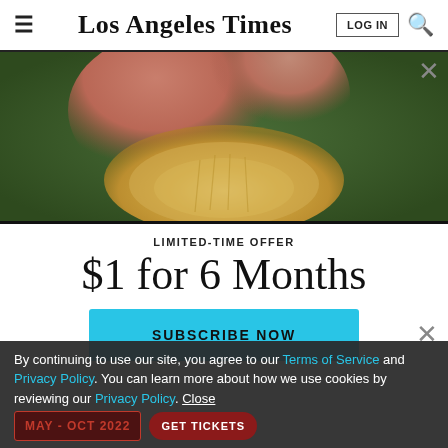Los Angeles Times
[Figure (photo): Close-up photo of fingers holding a small yellow brain-shaped mushroom against a green leafy background]
LIMITED-TIME OFFER
$1 for 6 Months
SUBSCRIBE NOW
By continuing to use our site, you agree to our Terms of Service and Privacy Policy. You can learn more about how we use cookies by reviewing our Privacy Policy. Close